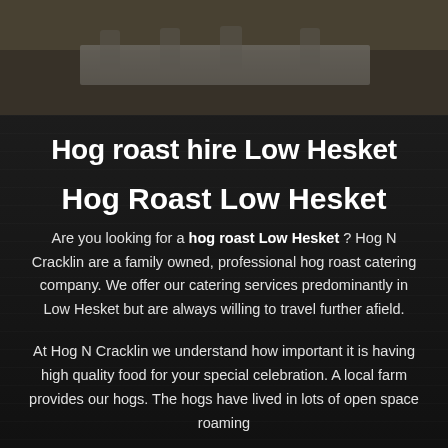[Figure (photo): Photograph of a dining table setting with white tablecloths and chairs, partially visible at the top of the page with dark overlay]
Hog roast hire Low Hesket
Hog Roast Low Hesket
Are you looking for a hog roast Low Hesket ? Hog N Cracklin are a family owned, professional hog roast catering company. We offer our catering services predominantly in Low Hesket but are always willing to travel further afield.
At Hog N Cracklin we understand how important it is having high quality food for your special celebration. A local farm provides our hogs. The hogs have lived in lots of open space roaming